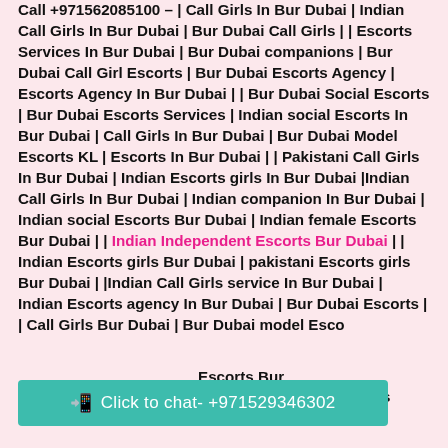Call +971562085100 – | Call Girls In Bur Dubai | Indian Call Girls In Bur Dubai | Bur Dubai Call Girls | | Escorts Services In Bur Dubai | Bur Dubai companions | Bur Dubai Call Girl Escorts | Bur Dubai Escorts Agency | Escorts Agency In Bur Dubai | | Bur Dubai Social Escorts | Bur Dubai Escorts Services | Indian social Escorts In Bur Dubai | Call Girls In Bur Dubai | Bur Dubai Model Escorts KL | Escorts In Bur Dubai | | Pakistani Call Girls In Bur Dubai | Indian Escorts girls In Bur Dubai |Indian Call Girls In Bur Dubai | Indian companion In Bur Dubai | Indian social Escorts Bur Dubai | Indian female Escorts Bur Dubai | | Indian Independent Escorts Bur Dubai | | Indian Escorts girls Bur Dubai | pakistani Escorts girls Bur Dubai | |Indian Call Girls service In Bur Dubai | Indian Escorts agency In Bur Dubai | Bur Dubai Escorts | | Call Girls Bur Dubai | Bur Dubai model Esco... Escorts Bur... Indian Air hostess Escort Bur Dubai |sexy Call Girls
[Figure (other): WhatsApp click-to-chat button bar in teal/green color reading: Click to chat- +971529346302]